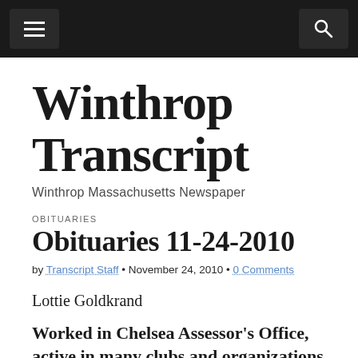Winthrop Transcript [navigation bar with menu and search icons]
Winthrop Transcript
Winthrop Massachusetts Newspaper
OBITUARIES
Obituaries 11-24-2010
by Transcript Staff • November 24, 2010 • 0 Comments
Lottie Goldkrand
Worked in Chelsea Assessor's Office, active in many clubs and organizations